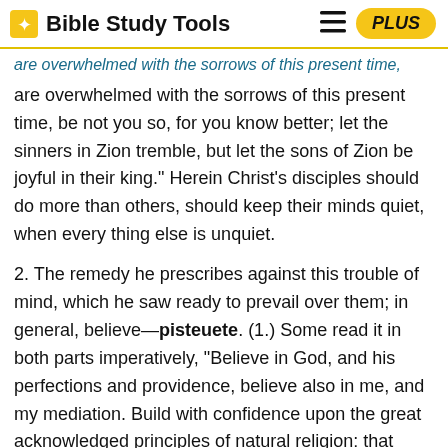Bible Study Tools
are overwhelmed with the sorrows of this present time, be not you so, for you know better; let the sinners in Zion tremble, but let the sons of Zion be joyful in their king." Herein Christ's disciples should do more than others, should keep their minds quiet, when every thing else is unquiet.
2. The remedy he prescribes against this trouble of mind, which he saw ready to prevail over them; in general, believe—pisteuete. (1.) Some read it in both parts imperatively, "Believe in God, and his perfections and providence, believe also in me, and my mediation. Build with confidence upon the great acknowledged principles of natural religion: that there is a God, that he is most holy, wise, powerful, and good; that he is the governor of the world, and has the sovereign disposal of all events; and comfort yourselves likewise with the